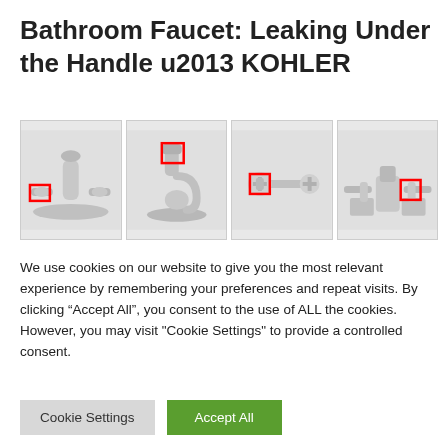Bathroom Faucet: Leaking Under the Handle u2013 KOHLER
[Figure (photo): Four bathroom faucet product images arranged in a row, each with a red rectangle highlighting a specific area under the handle.]
We use cookies on our website to give you the most relevant experience by remembering your preferences and repeat visits. By clicking “Accept All”, you consent to the use of ALL the cookies. However, you may visit "Cookie Settings" to provide a controlled consent.